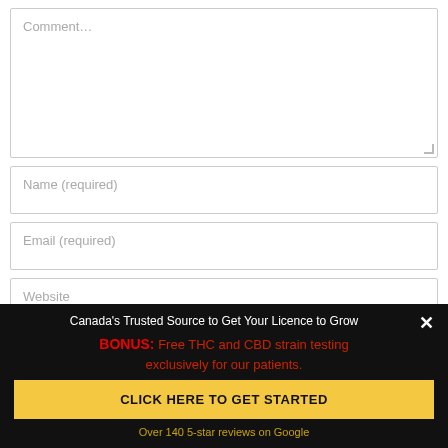[Figure (screenshot): Web form with Comment textarea, Name (required), Email (required), and Website input fields. A dark banner overlay at the bottom promotes Canada's Trusted Source to Get Your Licence to Grow with a BONUS offer for free THC and CBD strain testing, a yellow call-to-action button, and a Google reviews note.]
Canada's Trusted Source to Get Your Licence to Grow
BONUS: Free THC and CBD strain testing exclusively for our patients.
CLICK HERE TO GET STARTED
Over 140 5-star reviews on Google